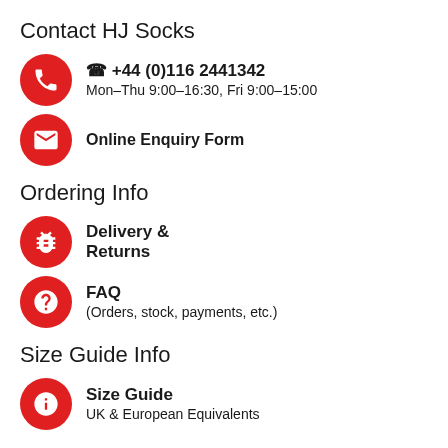Contact HJ Socks
☎ +44 (0)116 2441342 | Mon-Thu 9:00-16:30, Fri 9:00-15:00
Online Enquiry Form
Ordering Info
Delivery & Returns
FAQ (Orders, stock, payments, etc.)
Size Guide Info
Size Guide | UK & European Equivalents
Site Usage
Privacy Policy